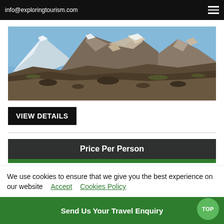info@exploringtourism.com
[Figure (photo): Mountain landscape with snow-capped rocky peaks under a blue sky, brown rocky terrain in foreground.]
VIEW DETAILS
Price Per Person
We use cookies to ensure that we give you the best experience on our website   Accept   Cookies Policy
Send Us Your Travel Enquiry
TOP